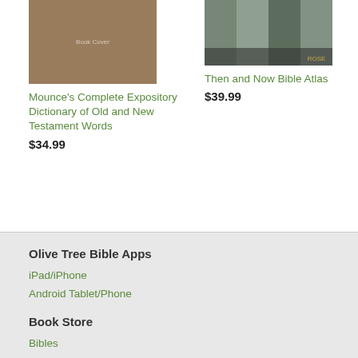[Figure (photo): Book cover of Mounce's Complete Expository Dictionary of Old and New Testament Words]
Mounce's Complete Expository Dictionary of Old and New Testament Words
$34.99
[Figure (photo): Book cover of Then and Now Bible Atlas]
Then and Now Bible Atlas
$39.99
Olive Tree Bible Apps
iPad/iPhone
Android Tablet/Phone
Book Store
Bibles
Study Bibles
Bible Study Tools
Enhanced for Bible Study